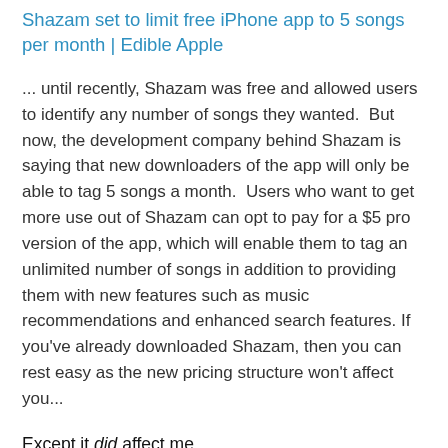Shazam set to limit free iPhone app to 5 songs per month | Edible Apple
... until recently, Shazam was free and allowed users to identify any number of songs they wanted.  But now, the development company behind Shazam is saying that new downloaders of the app will only be able to tag 5 songs a month.  Users who want to get more use out of Shazam can opt to pay for a $5 pro version of the app, which will enable them to tag an unlimited number of songs in addition to providing them with new features such as music recommendations and enhanced search features. If you've already downloaded Shazam, then you can rest easy as the new pricing structure won't affect you...
Except it did affect me.
I wouldn't mind the transition if iOS app updates were less automatic. I'd simply stay with the old version. The new version is really just a demo app.